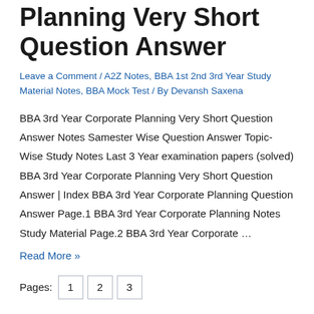Planning Very Short Question Answer
Leave a Comment / A2Z Notes, BBA 1st 2nd 3rd Year Study Material Notes, BBA Mock Test / By Devansh Saxena
BBA 3rd Year Corporate Planning Very Short Question Answer Notes Samester Wise Question Answer Topic-Wise Study Notes Last 3 Year examination papers (solved) BBA 3rd Year Corporate Planning Very Short Question Answer | Index BBA 3rd Year Corporate Planning Question Answer Page.1 BBA 3rd Year Corporate Planning Notes Study Material Page.2 BBA 3rd Year Corporate …
Read More »
Pages: 1 2 3